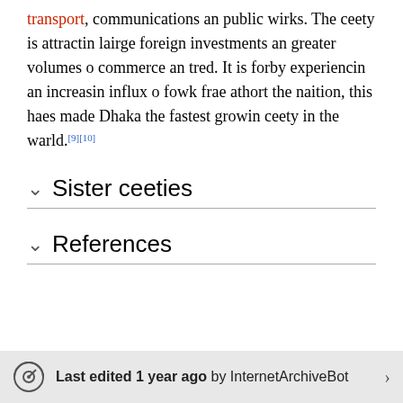transport, communications an public wirks. The ceety is attractin lairge foreign investments an greater volumes o commerce an tred. It is forby experiencin an increasin influx o fowk frae athort the naition, this haes made Dhaka the fastest growin ceety in the warld.[9][10]
Sister ceeties
References
Last edited 1 year ago by InternetArchiveBot